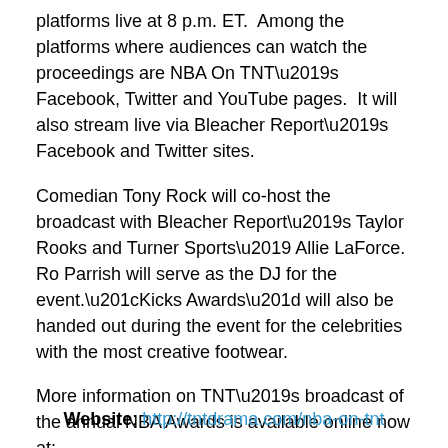platforms live at 8 p.m. ET.  Among the platforms where audiences can watch the proceedings are NBA On TNT's Facebook, Twitter and YouTube pages.  It will also stream live via Bleacher Report's Facebook and Twitter sites.
Comedian Tony Rock will co-host the broadcast with Bleacher Report's Taylor Rooks and Turner Sports' Allie LaForce.  Ro Parrish will serve as the DJ for the event.“Kicks Awards” will also be handed out during the event for the celebrities with the most creative footwear.
More information on TNT’s broadcast of the annual NBA Awards is available online now at:
Website: http://tntdrama.com/nba-on-tnt